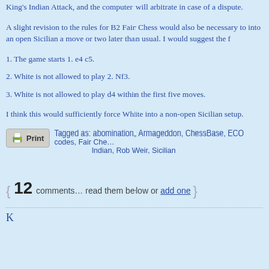King's Indian Attack, and the computer will arbitrate in case of a dispute.
A slight revision to the rules for B2 Fair Chess would also be necessary to into an open Sicilian a move or two later than usual. I would suggest the f
1. The game starts 1. e4 c5.
2. White is not allowed to play 2. Nf3.
3. White is not allowed to play d4 within the first five moves.
I think this would sufficiently force White into a non-open Sicilian setup.
Tagged as: abomination, Armageddon, ChessBase, ECO codes, Fair Che… Indian, Rob Weir, Sicilian
{ 12 comments… read them below or add one }
K